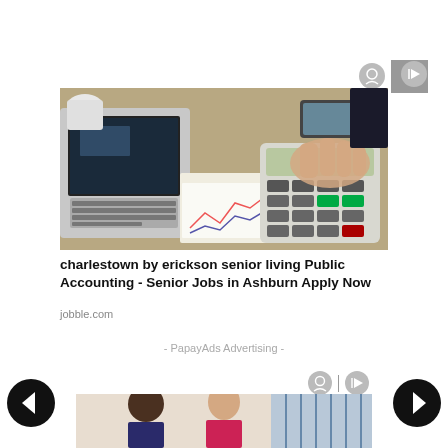[Figure (other): Ad icons: person/eye icon and play/arrow icon with divider line, top right area]
[Figure (photo): Photo of a person's hand using a calculator on a desk with a laptop, papers with charts, and office items in the background]
charlestown by erickson senior living Public Accounting - Senior Jobs in Ashburn Apply Now
jobble.com
- PapayAds Advertising -
[Figure (other): Second ad block icons: person/eye icon and play/arrow icon]
[Figure (other): Navigation left arrow button (dark circle with left arrow)]
[Figure (other): Navigation right arrow button (dark circle with right arrow)]
[Figure (photo): Partial photo showing a man and a woman (professional setting) at the bottom of the page]